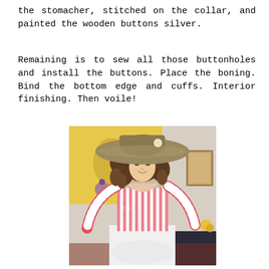the stomacher, stitched on the collar, and painted the wooden buttons silver.
Remaining is to sew all those buttonholes and install the buttons. Place the boning. Bind the bottom edge and cuffs. Interior finishing. Then voile!
[Figure (photo): A woman wearing a pink and white striped historical-style jacket/bodice with long sleeves and a white skirt, and a large wide-brimmed hat with curly brown hair. She is posing indoors in front of a colorful painting on the wall.]